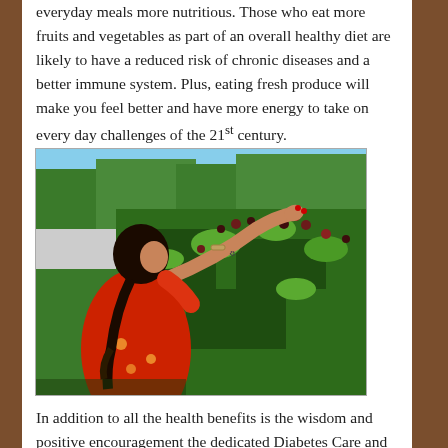everyday meals more nutritious. Those who eat more fruits and vegetables as part of an overall healthy diet are likely to have a reduced risk of chronic diseases and a better immune system. Plus, eating fresh produce will make you feel better and have more energy to take on every day challenges of the 21st century.
[Figure (photo): A woman in a red floral dress reaching up to pick berries from a lush green berry bush outdoors on a sunny day.]
In addition to all the health benefits is the wisdom and positive encouragement the dedicated Diabetes Care and